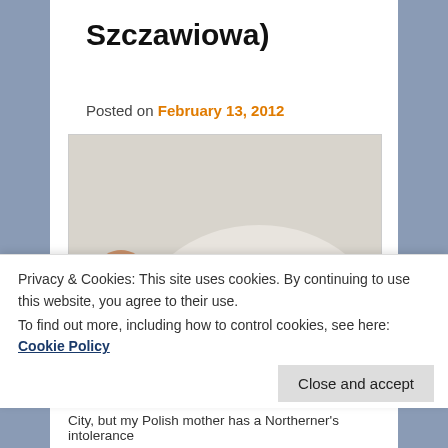Szczawiowa)
Posted on February 13, 2012
[Figure (photo): A white bowl of green soup (sorrel soup) with a spoon held by a hand, showing a soft-boiled egg on the spoon with an orange yolk on top of white, set on a wooden surface.]
Privacy & Cookies: This site uses cookies. By continuing to use this website, you agree to their use.
To find out more, including how to control cookies, see here: Cookie Policy
Close and accept
City, but my Polish mother has a Northerner's intolerance